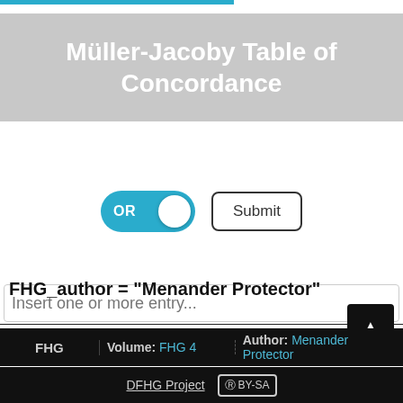Müller-Jacoby Table of Concordance
Insert one or more entry...
OR  Submit
FHG_author = "Menander Protector"
| FHG | Volume | Author |
| --- | --- | --- |
| FHG | FHG 4 | Menander Protector |
DFHG Project  (cc) BY-SA